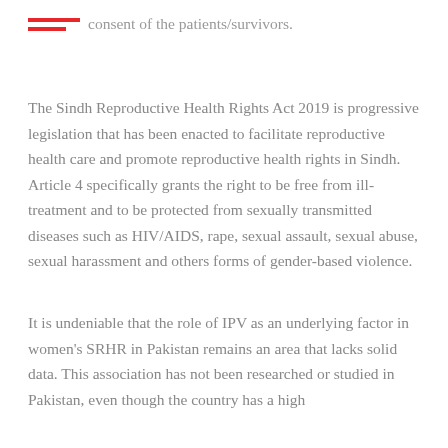consent of the patients/survivors.
The Sindh Reproductive Health Rights Act 2019 is progressive legislation that has been enacted to facilitate reproductive health care and promote reproductive health rights in Sindh. Article 4 specifically grants the right to be free from ill-treatment and to be protected from sexually transmitted diseases such as HIV/AIDS, rape, sexual assault, sexual abuse, sexual harassment and others forms of gender-based violence.
It is undeniable that the role of IPV as an underlying factor in women's SRHR in Pakistan remains an area that lacks solid data. This association has not been researched or studied in Pakistan, even though the country has a high